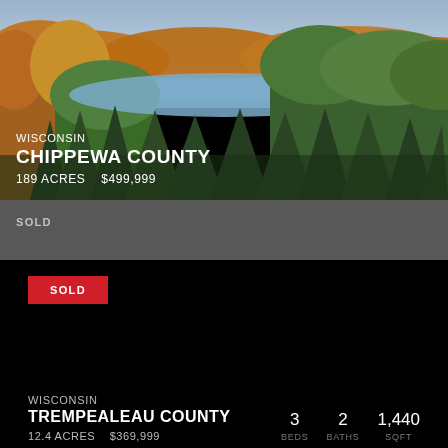[Figure (photo): Aerial drone photo of Wisconsin forest with fall foliage in orange, yellow and green surrounding a lake/river in autumn]
WISCONSIN
CHIPPEWA COUNTY
189 ACRES   $499,999
SOLD
SOLD
WISCONSIN
TREMPEALEAU COUNTY
12.4 ACRES   $369,999
3
BEDS
2
BATHS
1,440
SQFT